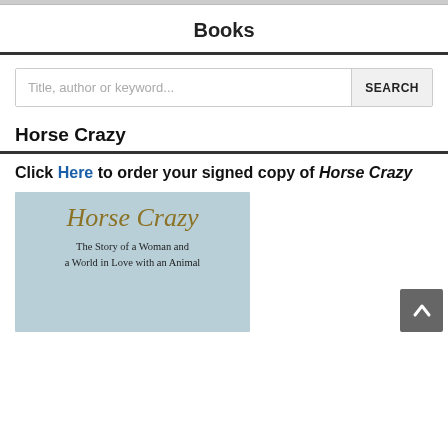Books
Title, author or keyword... SEARCH
Horse Crazy
Click Here to order your signed copy of Horse Crazy
[Figure (illustration): Book cover for 'Horse Crazy: The Story of a Woman and a World in Love with an Animal' with a light blue background, gold italic title text, and subtitle in dark text.]